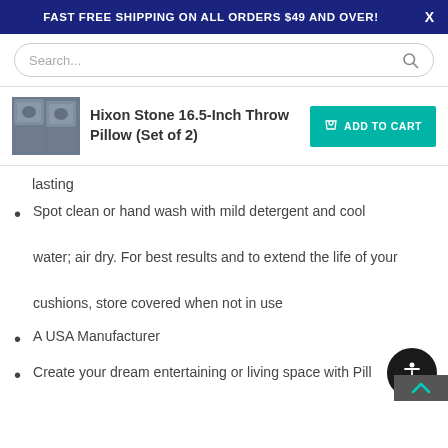FAST FREE SHIPPING ON ALL ORDERS $49 AND OVER!
Search...
Hixon Stone 16.5-Inch Throw Pillow (Set of 2)
ADD TO CART
lasting
Spot clean or hand wash with mild detergent and cool water; air dry. For best results and to extend the life of your cushions, store covered when not in use
A USA Manufacturer
Create your dream entertaining or living space with Pill